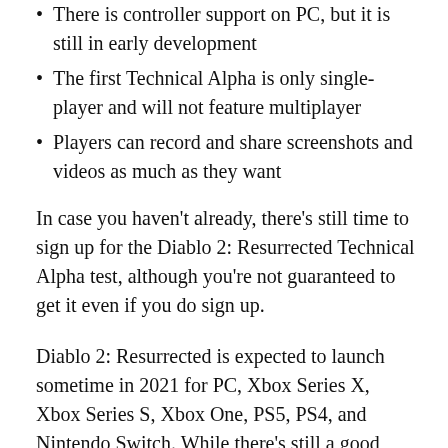There is controller support on PC, but it is still in early development
The first Technical Alpha is only single-player and will not feature multiplayer
Players can record and share screenshots and videos as much as they want
In case you haven't already, there's still time to sign up for the Diablo 2: Resurrected Technical Alpha test, although you're not guaranteed to get it even if you do sign up.
Diablo 2: Resurrected is expected to launch sometime in 2021 for PC, Xbox Series X, Xbox Series S, Xbox One, PS5, PS4, and Nintendo Switch. While there's still a good wait before we